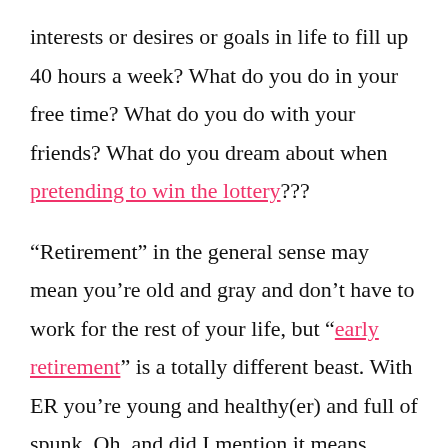interests or desires or goals in life to fill up 40 hours a week? What do you do in your free time? What do you do with your friends? What do you dream about when pretending to win the lottery???
“Retirement” in the general sense may mean you’re old and gray and don’t have to work for the rest of your life, but “early retirement” is a totally different beast. With ER you’re young and healthy(er) and full of spunk. Oh, and did I mention it means you’re FINANCIALLY FREE?? So you can work or  not work or do whatever the